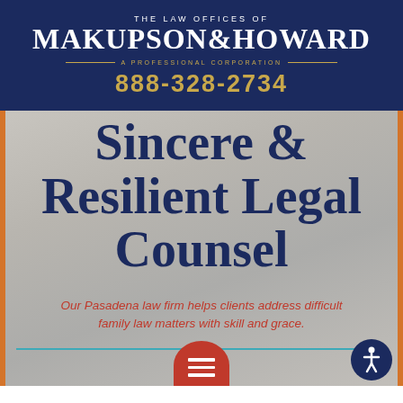THE LAW OFFICES OF MAKUPSON & HOWARD — A PROFESSIONAL CORPORATION
888-328-2734
Sincere & Resilient Legal Counsel
Our Pasadena law firm helps clients address difficult family law matters with skill and grace.
[Figure (logo): Red circular menu button and accessibility icon at bottom of page]